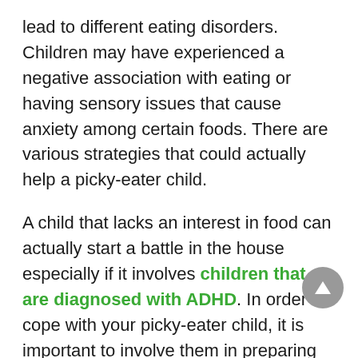lead to different eating disorders. Children may have experienced a negative association with eating or having sensory issues that cause anxiety among certain foods. There are various strategies that could actually help a picky-eater child.
A child that lacks an interest in food can actually start a battle in the house especially if it involves children that are diagnosed with ADHD. In order to cope with your picky-eater child, it is important to involve them in preparing their foods especially those children with ADHD. Kids having this condition will tend to develop ownership and